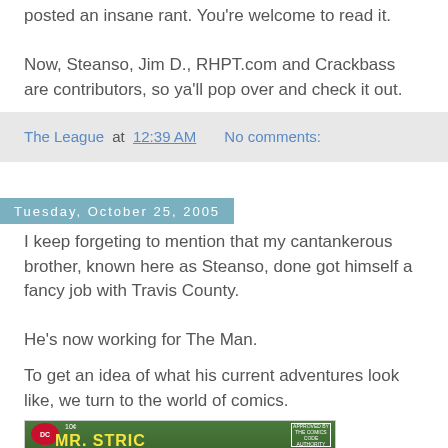posted an insane rant. You're welcome to read it.
Now, Steanso, Jim D., RHPT.com and Crackbass are contributors, so ya'll pop over and check it out.
The League at 12:39 AM   No comments:
Tuesday, October 25, 2005
I keep forgeting to mention that my cantankerous brother, known here as Steanso, done got himself a fancy job with Travis County.
He's now working for The Man.
To get an idea of what his current adventures look like, we turn to the world of comics.
[Figure (photo): Comic book cover showing 'MR. STRICT' title in yellow letters on green background, with DC logo and Comics Code Authority stamp, priced at 10 cents.]